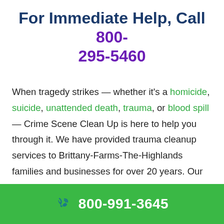For Immediate Help, Call 800-295-5460
When tragedy strikes — whether it's a homicide, suicide, unattended death, trauma, or blood spill — Crime Scene Clean Up is here to help you through it. We have provided trauma cleanup services to Brittany-Farms-The-Highlands families and businesses for over 20 years. Our biohazard remediation specialists will thoroughly eliminate the
800-991-3645